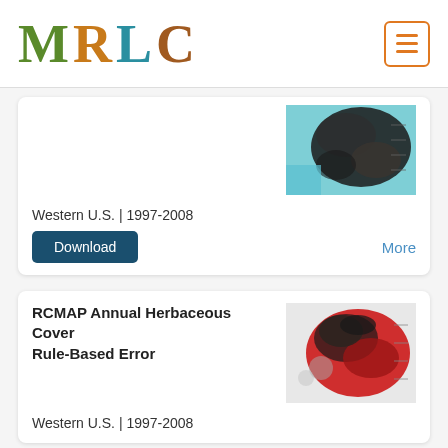MRLC
[Figure (map): Map of Western U.S. land cover data, dark tones with teal/turquoise coastal areas]
Western U.S. | 1997-2008
Download
More
RCMAP Annual Herbaceous Cover Rule-Based Error
[Figure (map): Map of Western U.S. showing herbaceous cover rule-based error in red and dark tones]
Western U.S. | 1997-2008